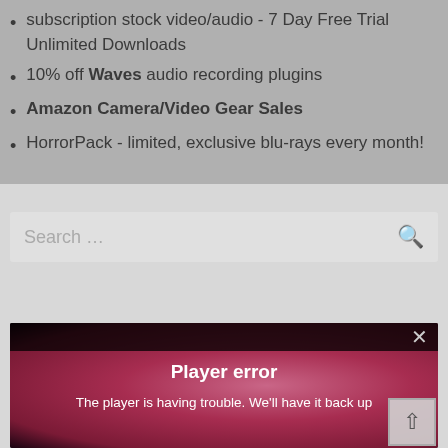subscription stock video/audio - 7 Day Free Trial Unlimited Downloads
10% off Waves audio recording plugins
Amazon Camera/Video Gear Sales
HorrorPack - limited, exclusive blu-rays every month!
Search …
[Figure (screenshot): Video player error overlay showing 'Player error' message with text 'The player is having trouble. We'll have it back up' on a pink/red bokeh background with dark top bar and close button]